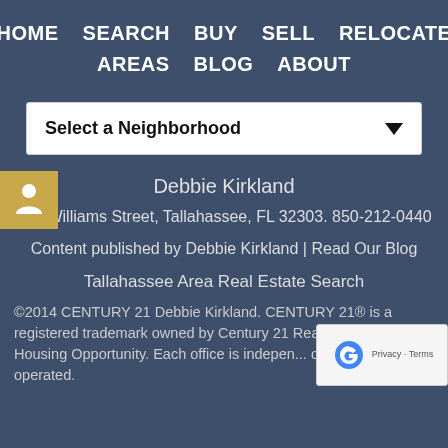HOME  SEARCH  BUY  SELL  RELOCATE  AREAS  BLOG  ABOUT
[Figure (other): Dropdown selector reading 'Select a Neighborhood' with a down arrow on the right]
Debbie Kirkland
316 Williams Street, Tallahassee, FL 32303. 850-212-0440
Content published by Debbie Kirkland | Read Our Blog
Tallahassee Area Real Estate Search
©2014 CENTURY 21 Debbie Kirkland. CENTURY 21® is a registered trademark owned by Century 21 Real Esta... Equal Housing Opportunity. Each office is indepen... owned and operated.